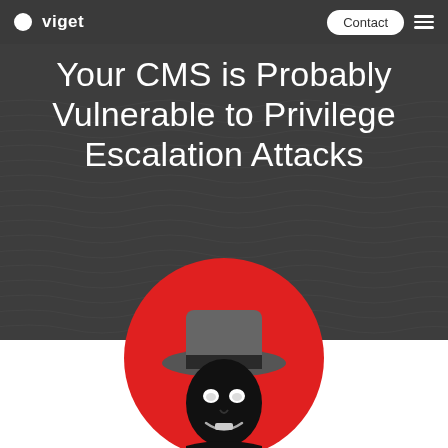Viget | Contact
Your CMS is Probably Vulnerable to Privilege Escalation Attacks
[Figure (illustration): A red circle containing a stylized black hacker/villain figure wearing a dark fedora hat with glowing white eyes and a sinister grin, on a dark background with subtle wave pattern.]